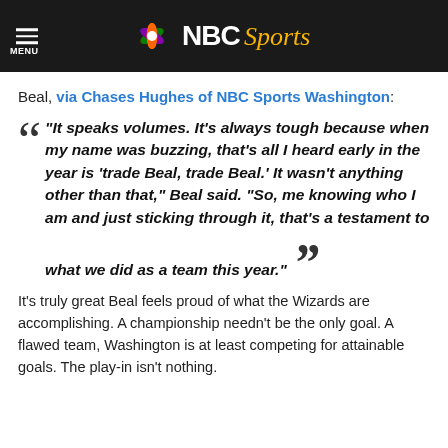NBC Sports
Beal, via Chases Hughes of NBC Sports Washington:
“It speaks volumes. It’s always tough because when my name was buzzing, that’s all I heard early in the year is ‘trade Beal, trade Beal.’ It wasn’t anything other than that,” Beal said. “So, me knowing who I am and just sticking through it, that’s a testament to what we did as a team this year.”
It’s truly great Beal feels proud of what the Wizards are accomplishing. A championship needn’t be the only goal. A flawed team, Washington is at least competing for attainable goals. The play-in isn't nothing.